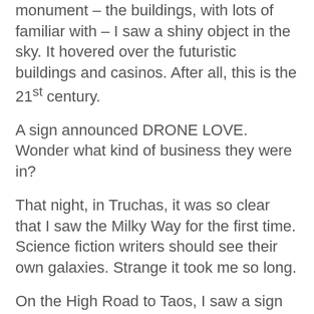monument – the buildings, with lots of familiar with – I saw a shiny object in the sky. It hovered over the futuristic buildings and casinos. After all, this is the 21st century.
A sign announced DRONE LOVE. Wonder what kind of business they were in?
That night, in Truchas, it was so clear that I saw the Milky Way for the first time. Science fiction writers should see their own galaxies. Strange it took me so long.
On the High Road to Taos, I saw a sign with Cistobal de la Sirena – Christopher of the Mermaid? I made a note to look it up. Could it be another clue to the desert mermaid image? Turns out it was a reference to the Cristobal de la Sierra land grant. My eyes are making a Quijote out of me. Again.